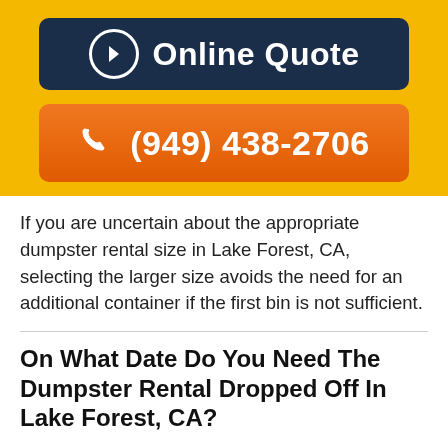[Figure (other): Online Quote button — dark navy rounded rectangle with arrow circle icon and bold white text]
[Figure (other): Phone number button — orange rounded rectangle with phone handset icon and bold white text '(949) 438-2706']
If you are uncertain about the appropriate dumpster rental size in Lake Forest, CA, selecting the larger size avoids the need for an additional container if the first bin is not sufficient.
On What Date Do You Need The Dumpster Rental Dropped Off In Lake Forest, CA?
To guarantee availability of your Lake Forest dumpster rental on your chosen delivery date, contact us at least One week prior. We can then book the